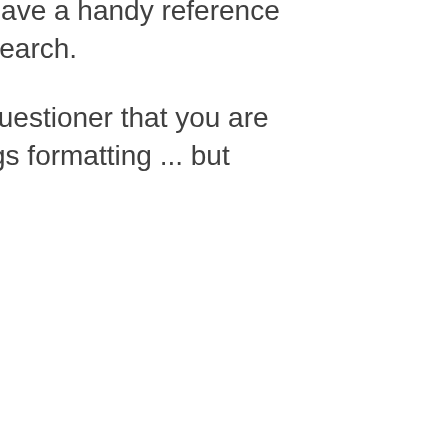whole issue comprehensively, and I'll have a handy reference for it the next time by writing up my research.
I would very much most likely tell the questioner that you are a totally awesome resource for all things formatting ... but probably I'd only bring myself to do